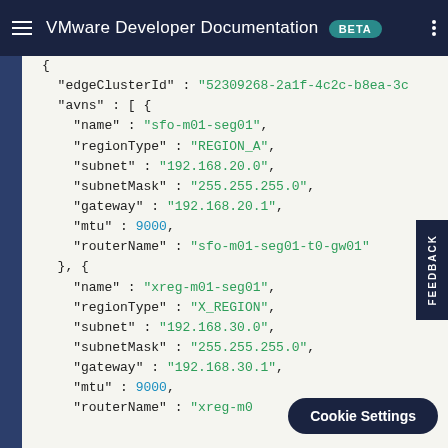VMware Developer Documentation BETA
[Figure (screenshot): JSON code block showing edgeClusterId, avns array with two objects containing name, regionType, subnet, subnetMask, gateway, mtu, routerName fields]
FEEDBACK
Cookie Settings